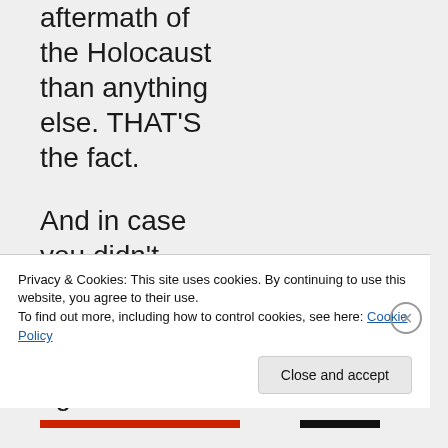aftermath of the Holocaust than anything else. THAT'S the fact.

And in case you didn't know, REAL Orthodox Jews were against the
Privacy & Cookies: This site uses cookies. By continuing to use this website, you agree to their use.
To find out more, including how to control cookies, see here: Cookie Policy